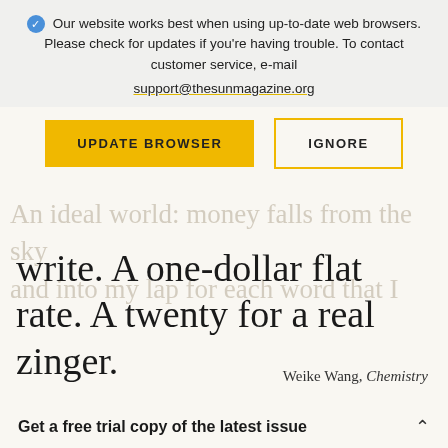Our website works best when using up-to-date web browsers. Please check for updates if you're having trouble. To contact customer service, e-mail support@thesunmagazine.org
[Figure (other): Two buttons: 'UPDATE BROWSER' (yellow/gold filled) and 'IGNORE' (gold border, transparent fill)]
An ideal world: money falls from the sky and into my lap for each word that I write. A one-dollar flat rate. A twenty for a real zinger.
Weike Wang, Chemistry
Get a free trial copy of the latest issue